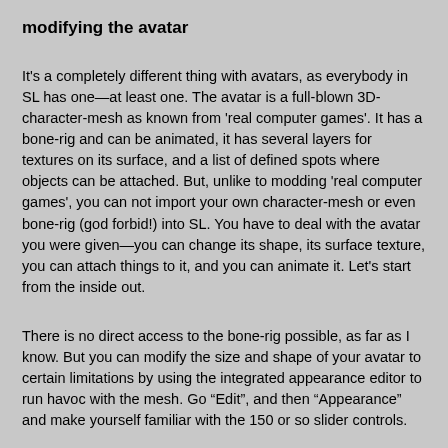modifying the avatar
It's a completely different thing with avatars, as everybody in SL has one—at least one. The avatar is a full-blown 3D-character-mesh as known from 'real computer games'. It has a bone-rig and can be animated, it has several layers for textures on its surface, and a list of defined spots where objects can be attached. But, unlike to modding 'real computer games', you can not import your own character-mesh or even bone-rig (god forbid!) into SL. You have to deal with the avatar you were given—you can change its shape, its surface texture, you can attach things to it, and you can animate it. Let's start from the inside out.
There is no direct access to the bone-rig possible, as far as I know. But you can modify the size and shape of your avatar to certain limitations by using the integrated appearance editor to run havoc with the mesh. Go “Edit”, and then “Appearance” and make yourself familiar with the 150 or so slider controls.